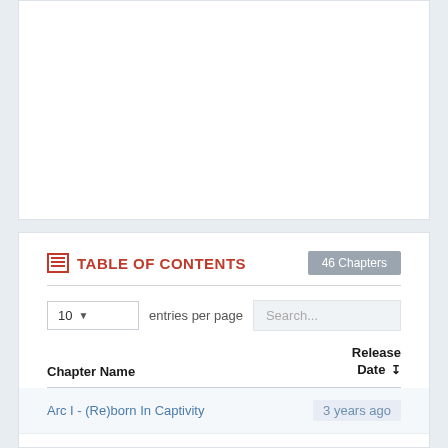TABLE OF CONTENTS
46 Chapters
10 entries per page
| Chapter Name | Release Date |
| --- | --- |
| Arc I - (Re)born In Captivity | 3 years ago |